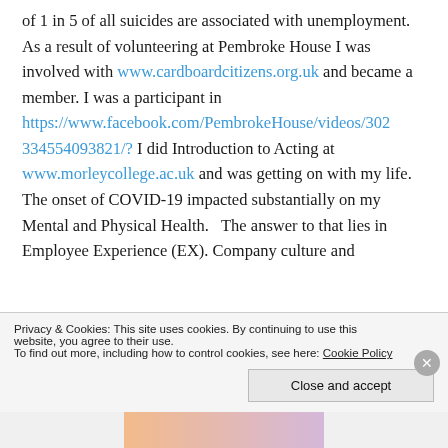of 1 in 5 of all suicides are associated with unemployment. As a result of volunteering at Pembroke House I was involved with www.cardboardcitizens.org.uk and became a member. I was a participant in https://www.facebook.com/PembrokeHouse/videos/302334554093821/? I did Introduction to Acting at www.morleycollege.ac.uk and was getting on with my life. The onset of COVID-19 impacted substantially on my Mental and Physical Health.   The answer to that lies in Employee Experience (EX). Company culture and
Privacy & Cookies: This site uses cookies. By continuing to use this website, you agree to their use. To find out more, including how to control cookies, see here: Cookie Policy